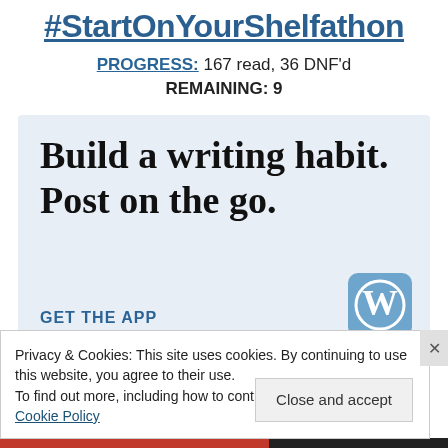#StartOnYourShelfathon
PROGRESS: 167 read, 36 DNF'd
REMAINING: 9
[Figure (infographic): WordPress app advertisement with light blue background. Large serif text reads 'Build a writing habit. Post on the go.' with a 'GET THE APP' call to action in blue and the WordPress logo icon.]
Privacy & Cookies: This site uses cookies. By continuing to use this website, you agree to their use.
To find out more, including how to control cookies, see here: Cookie Policy
Close and accept